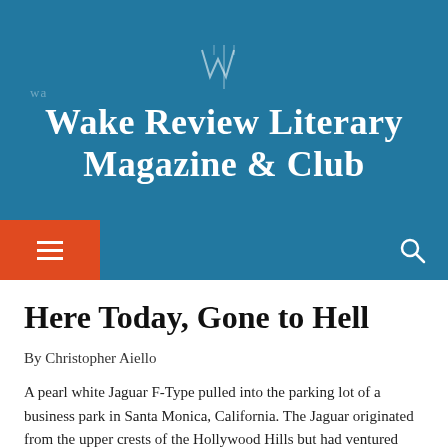[Figure (logo): Wake Review Literary Magazine & Club banner logo with teal/blue background and stylized WR monogram icon]
Here Today, Gone to Hell
By Christopher Aiello
A pearl white Jaguar F-Type pulled into the parking lot of a business park in Santa Monica, California. The Jaguar originated from the upper crests of the Hollywood Hills but had ventured down from the clouds for the day. The driver, Casey Willow—a